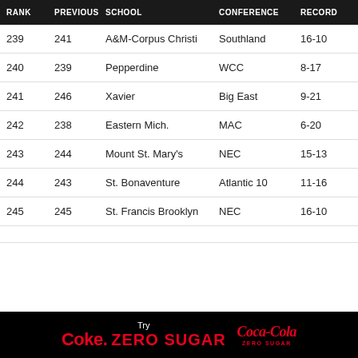| RANK | PREVIOUS | SCHOOL | CONFERENCE | RECORD | ROAD |
| --- | --- | --- | --- | --- | --- |
| 239 | 241 | A&M-Corpus Christi | Southland | 16-10 | 5-8 |
| 240 | 239 | Pepperdine | WCC | 8-17 | 2-10 |
| 241 | 246 | Xavier | Big East | 9-21 | 5-10 |
| 242 | 238 | Eastern Mich. | MAC | 6-20 | 2-11 |
| 243 | 244 | Mount St. Mary's | NEC | 15-13 | 5-8 |
| 244 | 243 | St. Bonaventure | Atlantic 10 | 11-16 | 4-8 |
| 245 | 245 | St. Francis Brooklyn | NEC | 16-10 | 8-5 |
[Figure (logo): Try Coke Zero Sugar / Coca-Cola Zero Sugar advertisement banner]